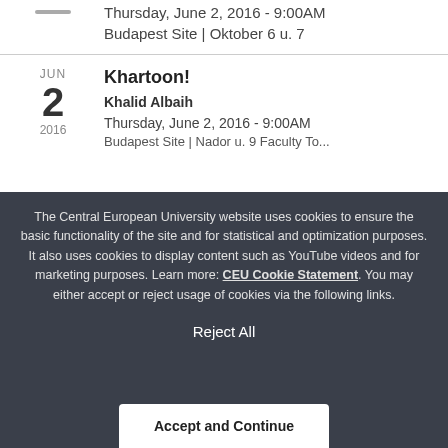Thursday, June 2, 2016 - 9:00AM
Budapest Site | Oktober 6 u. 7
Khartoon!
Khalid Albaih
Thursday, June 2, 2016 - 9:00AM
Budapest Site | Nador u. 9 Faculty To...
The Central European University website uses cookies to ensure the basic functionality of the site and for statistical and optimization purposes. It also uses cookies to display content such as YouTube videos and for marketing purposes. Learn more: CEU Cookie Statement. You may either accept or reject usage of cookies via the following links.
Reject All
Accept and Continue